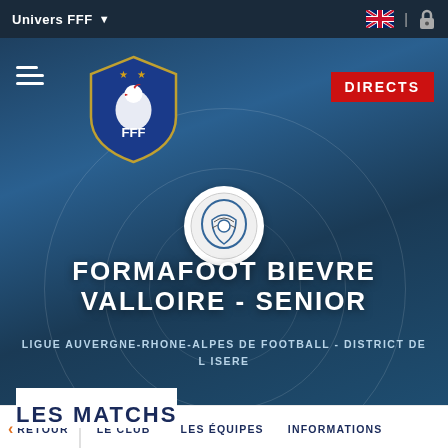Univers FFF
[Figure (screenshot): FFF (Fédération Française de Football) website header with hero banner showing Formafoot Bievre Valloire - Senior club page]
FORMAFOOT BIEVRE VALLOIRE - SENIOR
LIGUE AUVERGNE-RHONE-ALPES DE FOOTBALL - DISTRICT DE L ISERE
LES MATCHS
RETOUR | LE CLUB | LES ÉQUIPES | INFORMATIONS